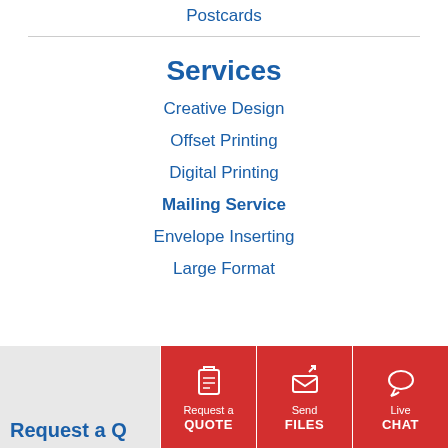Postcards
Services
Creative Design
Offset Printing
Digital Printing
Mailing Service
Envelope Inserting
Large Format
Request a QUOTE
Send FILES
Live CHAT
Request a Q...